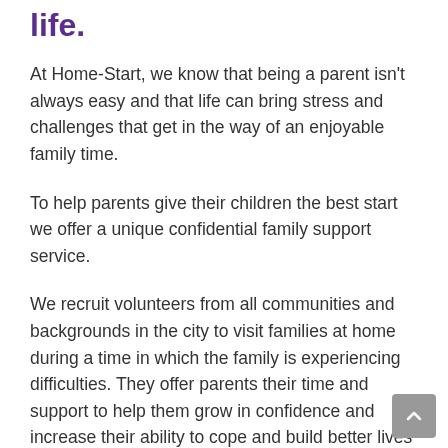life.
At Home-Start, we know that being a parent isn't always easy and that life can bring stress and challenges that get in the way of an enjoyable family time.
To help parents give their children the best start we offer a unique confidential family support service.
We recruit volunteers from all communities and backgrounds in the city to visit families at home during a time in which the family is experiencing difficulties. They offer parents their time and support to help them grow in confidence and increase their ability to cope and build better lives for their children and themselves.